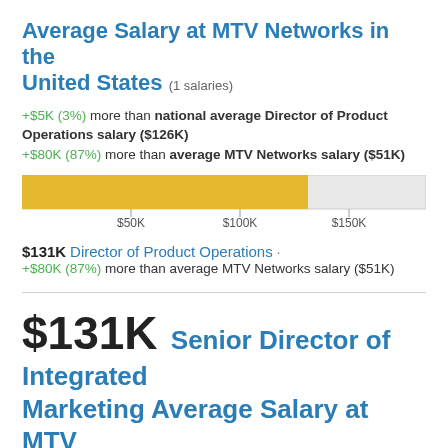Average Salary at MTV Networks in the United States (1 salaries)
+$5K (3%) more than national average Director of Product Operations salary ($126K)
+$80K (87%) more than average MTV Networks salary ($51K)
[Figure (bar-chart): Salary bar]
$131K Director of Product Operations · +$80K (87%) more than average MTV Networks salary ($51K)
$131K Senior Director of Integrated Marketing Average Salary at MTV